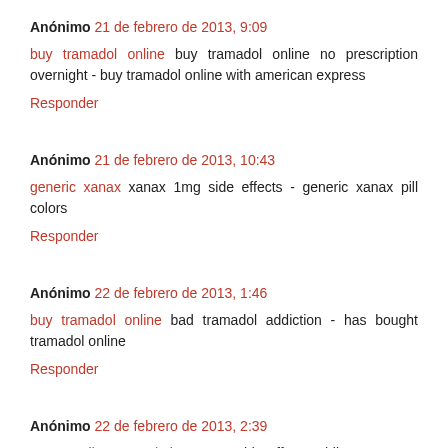Anónimo 21 de febrero de 2013, 9:09
buy tramadol online buy tramadol online no prescription overnight - buy tramadol online with american express
Responder
Anónimo 21 de febrero de 2013, 10:43
generic xanax xanax 1mg side effects - generic xanax pill colors
Responder
Anónimo 22 de febrero de 2013, 1:46
buy tramadol online bad tramadol addiction - has bought tramadol online
Responder
Anónimo 22 de febrero de 2013, 2:39
xanax online prescription xanax side effects while pregnant - xanax 2mg blue